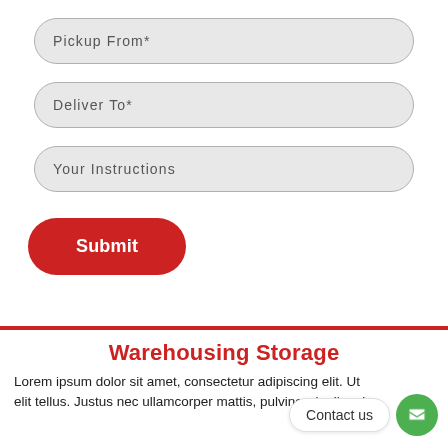Pickup From*
Deliver To*
Your Instructions
Submit
Warehousing Storage
Lorem ipsum dolor sit amet, consectetur adipiscing elit. Ut elit tellus. Justus nec ullamcorper mattis, pulviner danibus leo.
Contact us